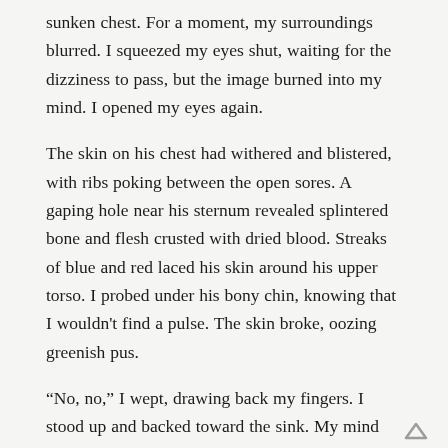sunken chest. For a moment, my surroundings blurred. I squeezed my eyes shut, waiting for the dizziness to pass, but the image burned into my mind. I opened my eyes again.
The skin on his chest had withered and blistered, with ribs poking between the open sores. A gaping hole near his sternum revealed splintered bone and flesh crusted with dried blood. Streaks of blue and red laced his skin around his upper torso. I probed under his bony chin, knowing that I wouldn't find a pulse. The skin broke, oozing greenish pus.
“No, no,” I wept, drawing back my fingers. I stood up and backed toward the sink. My mind whirled, trying to decide if I was going crazy. Maybe I was asleep, having the granddaddy of nightmares. “You can’t be real.”
“You brought me here,” my companion said in a reasonable voice. “How can you deny my existence?”